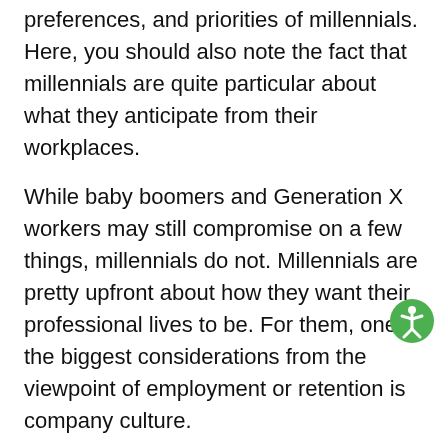preferences, and priorities of millennials. Here, you should also note the fact that millennials are quite particular about what they anticipate from their workplaces.
While baby boomers and Generation X workers may still compromise on a few things, millennials do not. Millennials are pretty upfront about how they want their professional lives to be. For them, one of the biggest considerations from the viewpoint of employment or retention is company culture.
Moreover, millennials also prioritize the following dimensions that they want their employers or potential organizations to deliver on.
Learning and development opportunities in the